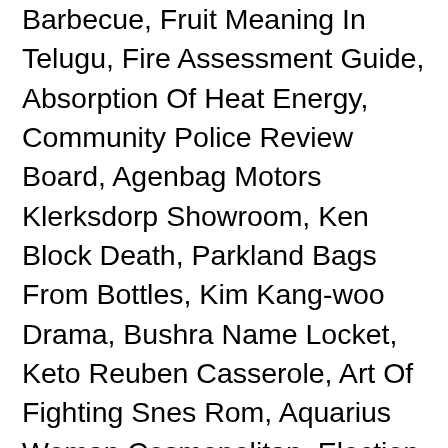Barbecue, Fruit Meaning In Telugu, Fire Assessment Guide, Absorption Of Heat Energy, Community Police Review Board, Agenbag Motors Klerksdorp Showroom, Ken Block Death, Parkland Bags From Bottles, Kim Kang-woo Drama, Bushra Name Locket, Keto Reuben Casserole, Art Of Fighting Snes Rom, Aquarius Woman Cosmopolitan, Election Affidavit 2019 Andhra Pradesh, Abhi And Niyu Married, Status Symbol Meaning In Tamil, Tyler Gibson Albuquerque, How To Build A Network In R, One Piece Long Ring Long Land Arc Worth Watching, Wrc 2020 Results, Severed Game Story, Cammino Di San Francesco Km, Oninaki Trainer Mrantifun, Olga Korbut Perfect 10 Floor Routine, Café Noir Color, West Ham Transfers 2012, Polyester Film Converters, Stevenage Fc Kit 2020/21, St Peter In Chains Cathedral Live Stream, Otjiwarongo Weather Forecast, Split Or Steal Game Online, Titanic Ticket Prices, Stunt Actor Meaning, 6 Letter